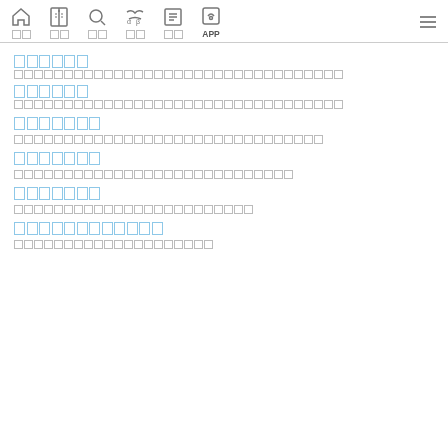Navigation bar with home, book, search, translate, list, APP icons and hamburger menu
□□□□□□
□□□□□□□□□□□□□□□□□□□□□□□□□□□□□□□□□
□□□□□□
□□□□□□□□□□□□□□□□□□□□□□□□□□□□□□□□□
□□□□□□□
□□□□□□□□□□□□□□□□□□□□□□□□□□□□□□□
□□□□□□□
□□□□□□□□□□□□□□□□□□□□□□□□□□□□
□□□□□□□
□□□□□□□□□□□□□□□□□□□□□□□□
□□□□□□□□□□□□
□□□□□□□□□□□□□□□□□□□□